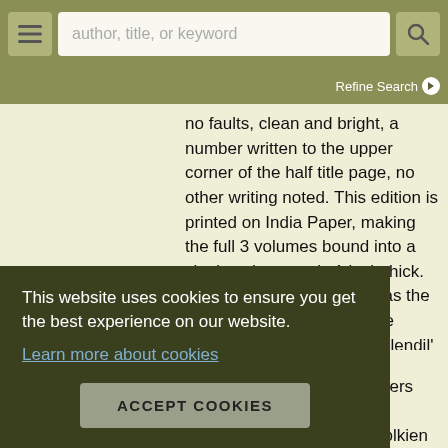author, title, or keyword | Refine Search
no faults, clean and bright, a number written to the upper corner of the half title page, no other writing noted. This edition is printed on India Paper, making the full 3 volumes bound into a single volume, only 1 inch thick. The black buckram cloth has the Tolkien design depicting the Numenorean throne with 'Elendil' in tengwar, stamped on upper cover in gilt, silver and green. Mottled black and grey wove endpapers, ...t ...hers ...ous ...ing ...ion. ...ndition, ...lable, inquire if interested. Other Tolkien books
This website uses cookies to ensure you get the best experience on our website.
Learn more about cookies
ACCEPT COOKIES